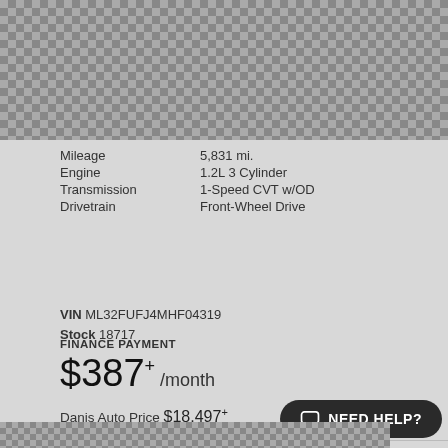[Figure (photo): Car image with checkered pattern background visible at top of page]
Mileage	5,831 mi.
Engine	1.2L 3 Cylinder
Transmission	1-Speed CVT w/OD
Drivetrain	Front-Wheel Drive
VIN ML32FUFJ4MHF04319
Stock 18717
FINANCE PAYMENT
$387+ /month
Danis Auto Price $18,497+
2021 Mitsubishi
Mirage G4 ES
[Figure (photo): Bottom portion of next car listing with checkered pattern background]